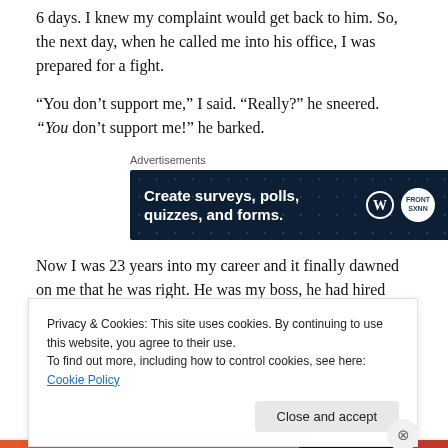6 days. I knew my complaint would get back to him. So, the next day, when he called me into his office, I was prepared for a fight.
“You don’t support me,” I said. “Really?” he sneered. “You don’t support me!” he barked.
[Figure (screenshot): Advertisement banner with dark navy background and white bold text reading 'Create surveys, polls, quizzes, and forms.' with WordPress logo and a circular logo on the right.]
Now I was 23 years into my career and it finally dawned on me that he was right. He was my boss, he had hired
Privacy & Cookies: This site uses cookies. By continuing to use this website, you agree to their use.
To find out more, including how to control cookies, see here: Cookie Policy
Close and accept